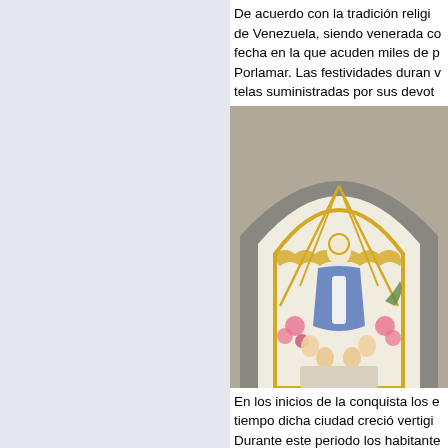De acuerdo con la tradición religio... de Venezuela, siendo venerada co... fecha en la que acuden miles de p... Porlamar. Las festividades duran v... telas suministradas por sus devot...
[Figure (photo): Religious statue of the Virgin Mary in a Gothic arch niche with golden adornments, surrounded by smaller figures and pink flowers]
En los inicios de la conquista los e... tiempo dicha ciudad creció vertigino... Durante este periodo los habitantes... para poner la ciudad bajo su prote...